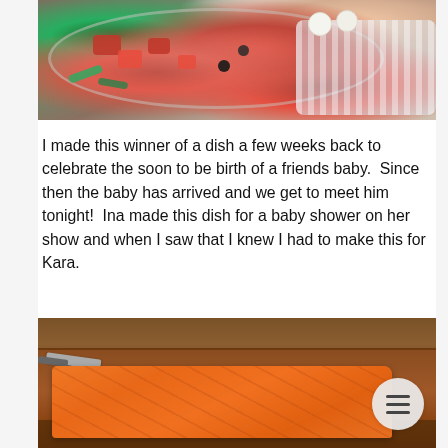[Figure (photo): A bowl of Nicoise salad with tomatoes, olives, hard-boiled eggs, and greens, placed on a white textured cloth or napkin.]
I made this winner of a dish a few weeks back to celebrate the soon to be birth of a friends baby.  Since then the baby has arrived and we get to meet him tonight!  Ina made this dish for a baby shower on her show and when I saw that I knew I had to make this for Kara.
[Figure (photo): A raw salmon fillet on a wooden cutting board with a knife, photographed from above.]